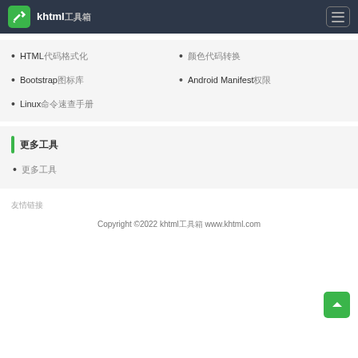khtml工具箱
HTML代码格式化
颜色代码转换
Bootstrap图标库
Android Manifest权限
Linux命令速查手册
更多工具
更多工具
友情链接
Copyright ©2022 khtml工具箱 www.khtml.com